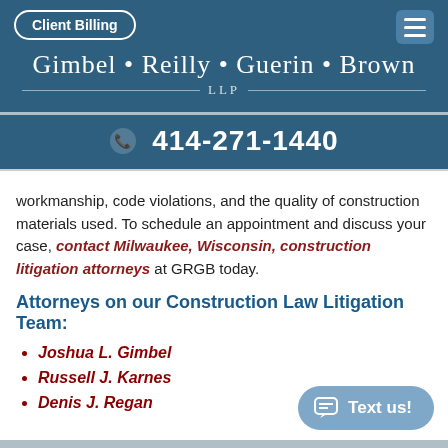Client Billing
Gimbel • Reilly • Guerin • Brown LLP
414-271-1440
workmanship, code violations, and the quality of construction materials used. To schedule an appointment and discuss your case, contact Milwaukee, Wisconsin, construction litigation attorneys at GRGB today.
Attorneys on our Construction Law Litigation Team:
Joshua L. Gimbel
Russell J. Karnes
Denis J. Regan